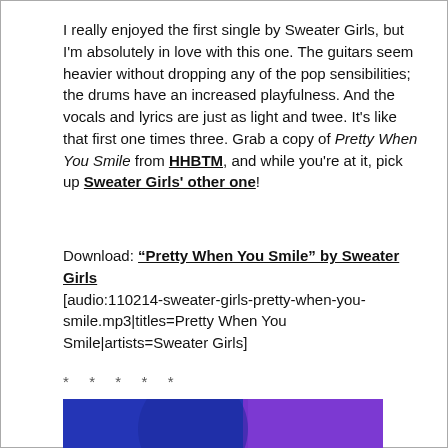I really enjoyed the first single by Sweater Girls, but I'm absolutely in love with this one. The guitars seem heavier without dropping any of the pop sensibilities; the drums have an increased playfulness. And the vocals and lyrics are just as light and twee. It's like that first one times three. Grab a copy of Pretty When You Smile from HHBTM, and while you're at it, pick up Sweater Girls' other one!
Download: "Pretty When You Smile" by Sweater Girls [audio:110214-sweater-girls-pretty-when-you-smile.mp3|titles=Pretty When You Smile|artists=Sweater Girls]
* * * * *
[Figure (illustration): Album art for Tender Trap — abstract blue, light blue, and purple glittery/fabric textures with white text reading 'tender trap' in lowercase on the left side.]